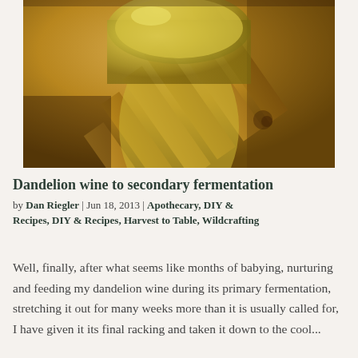[Figure (photo): Close-up photo of a glass jar or carboy with greenish-yellow liquid (dandelion wine) sitting on wooden slat boards under warm amber lighting]
Dandelion wine to secondary fermentation
by Dan Riegler | Jun 18, 2013 | Apothecary, DIY & Recipes, DIY & Recipes, Harvest to Table, Wildcrafting
Well, finally, after what seems like months of babying, nurturing and feeding my dandelion wine during its primary fermentation, stretching it out for many weeks more than it is usually called for, I have given it its final racking and taken it down to the cool...